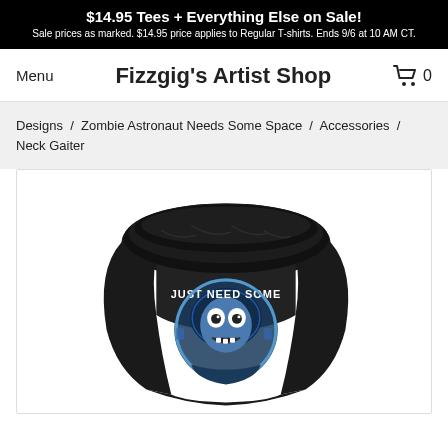$14.95 Tees + Everything Else on Sale! Sale prices as marked. $14.95 price applies to Regular T-shirts. Ends 9/6 at 10 AM CT.
Fizzgig's Artist Shop
Menu
0
Designs / Zombie Astronaut Needs Some Space / Accessories / Neck Gaiter
[Figure (photo): A black neck gaiter/face covering displayed on a mannequin form, featuring a zombie astronaut character design with blue coloring. Text on the gaiter reads 'JUST NEED SOME' and shows a cartoon zombie face inside an astronaut helmet.]